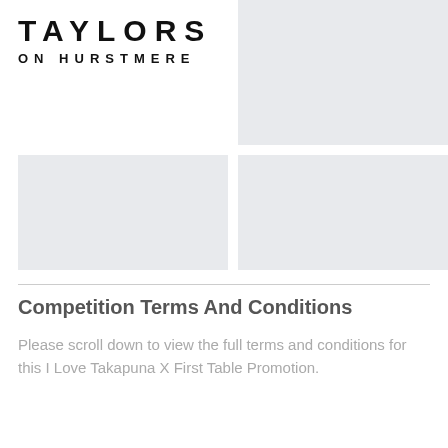[Figure (logo): TAYLORS ON HURSTMERE logo in bold spaced uppercase letters]
[Figure (photo): Top-right image placeholder with light gray background]
[Figure (photo): Bottom-left image placeholder with light gray background]
[Figure (photo): Bottom-right image placeholder with light gray background]
Competition Terms And Conditions
Please scroll down to view the full terms and conditions for this I Love Takapuna X First Table Promotion.